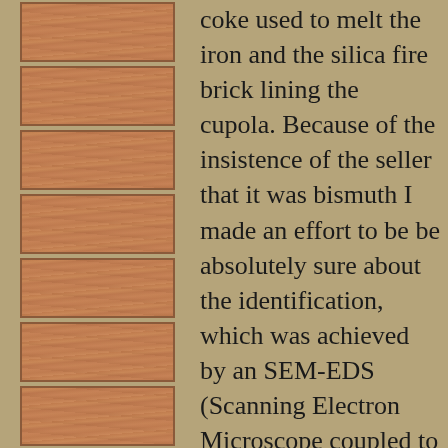[Figure (photo): Seven wood/ceramic tile images arranged vertically in a strip on the left side of the page, each showing a reddish-brown wood grain or fired material texture.]
coke used to melt the iron and the silica fire brick lining the cupola. Because of the insistence of the seller that it was bismuth I made an effort to be be absolutely sure about the identification, which was achieved by an SEM-EDS (Scanning Electron Microscope coupled to an Energy Dispersive X-ray Spectrometer) at the Center for Microanalysis of Materials,